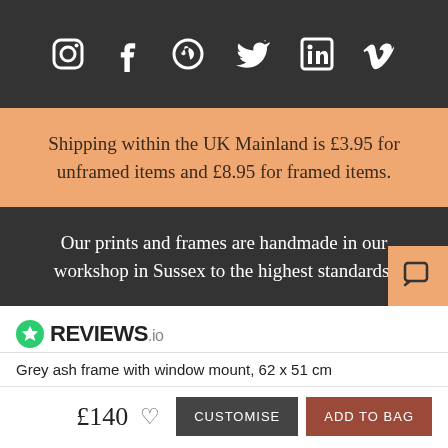[Figure (illustration): Social media icons bar: Instagram, Facebook, Pinterest, Twitter, LinkedIn, Vimeo icons in white on dark grey background]
Shipping within the UK Mainland is £3.95 for unframed items and £8.95 for framed items.
Our prints and frames are handmade in our workshop in Sussex to the highest standards.
[Figure (logo): REVIEWS.io logo with green star circle icon]
Grey ash frame with window mount, 62 x 51 cm
£140
CUSTOMISE
ADD TO BAG